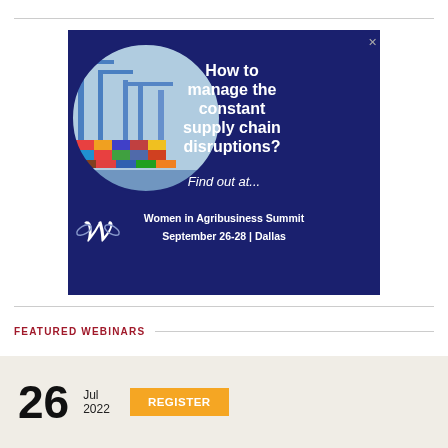[Figure (advertisement): Advertisement banner for Women in Agribusiness Summit. Dark navy blue background with circular image of shipping port/container terminal with blue cranes. Text reads: 'How to manage the constant supply chain disruptions? Find out at... Women in Agribusiness Summit September 26-28 | Dallas']
FEATURED WEBINARS
26 Jul 2022 REGISTER